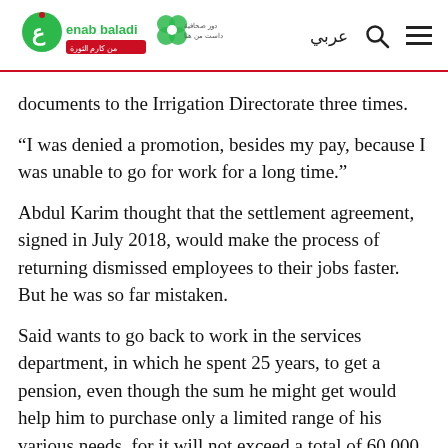enab baladi logo with Arabic navigation links
documents to the Irrigation Directorate three times.
“I was denied a promotion, besides my pay, because I was unable to go for work for a long time.”
Abdul Karim thought that the settlement agreement, signed in July 2018, would make the process of returning dismissed employees to their jobs faster. But he was so far mistaken.
Said wants to go back to work in the services department, in which he spent 25 years, to get a pension, even though the sum he might get would help him to purchase only a limited range of his various needs, for it will not exceed a total of 60,000